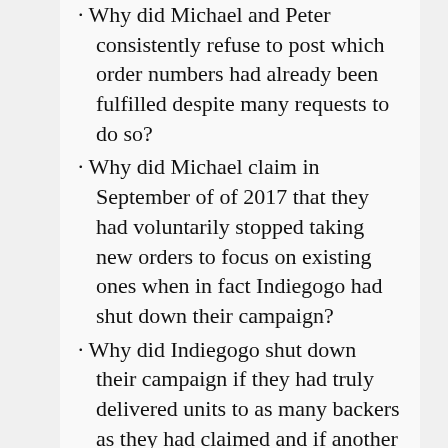· Why did Michael and Peter consistently refuse to post which order numbers had already been fulfilled despite many requests to do so?
· Why did Michael claim in September of of 2017 that they had voluntarily stopped taking new orders to focus on existing ones when in fact Indiegogo had shut down their campaign?
· Why did Indiegogo shut down their campaign if they had truly delivered units to as many backers as they had claimed and if another shipment of units was under way as had